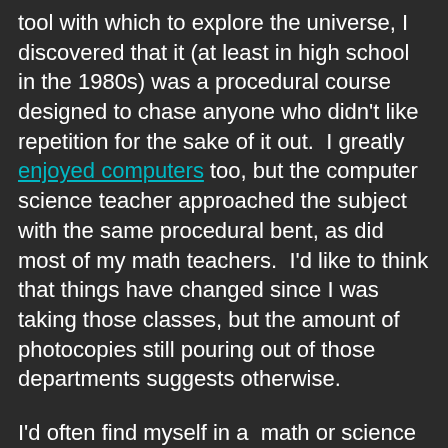tool with which to explore the universe, I discovered that it (at least in high school in the 1980s) was a procedural course designed to chase anyone who didn't like repetition for the sake of it out.  I greatly enjoyed computers too, but the computer science teacher approached the subject with the same procedural bent, as did most of my math teachers.  I'd like to think that things have changed since I was taking those classes, but the amount of photocopies still pouring out of those departments suggests otherwise.

I'd often find myself in a  math or science class doing procedural work with no idea why.  I'm not averse to procedural work, in